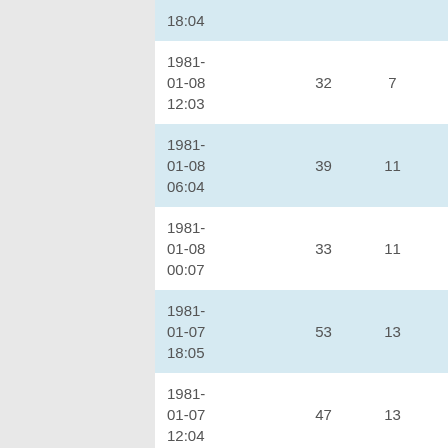| 18:04 |  |  |  |  |
| 1981-01-08 12:03 | 32 | 7 | 10 | 2 |
| 1981-01-08 06:04 | 39 | 11 | 15 | 3 |
| 1981-01-08 00:07 | 33 | 11 | 3 | 1 |
| 1981-01-07 18:05 | 53 | 13 | 23 | 4 |
| 1981-01-07 12:04 | 47 | 13 | 12 | 2 |
| 1981-01-07 | 35 | 4 | 2 | 1 |